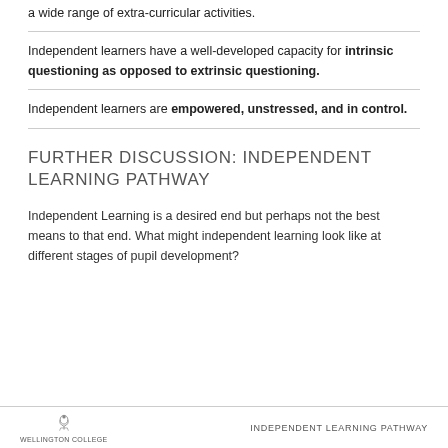a wide range of extra-curricular activities.
Independent learners have a well-developed capacity for intrinsic questioning as opposed to extrinsic questioning.
Independent learners are empowered, unstressed, and in control.
FURTHER DISCUSSION: INDEPENDENT LEARNING PATHWAY
Independent Learning is a desired end but perhaps not the best means to that end. What might independent learning look like at different stages of pupil development?
WELLINGTON COLLEGE   INDEPENDENT LEARNING PATHWAY